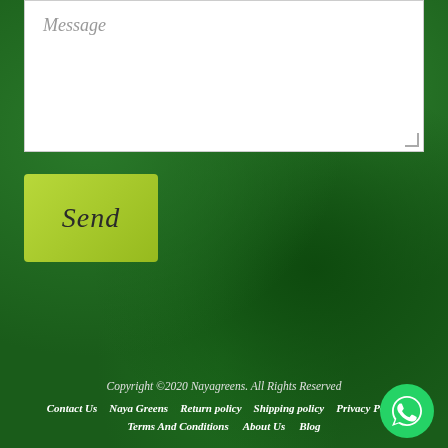[Figure (screenshot): Message text area input box with placeholder text 'Message' in grey italic, white background with resize handle at bottom right]
[Figure (screenshot): Green 'Send' button with yellow-green background and italic text]
Copyright ©2020 Nayagreens. All Rights Reserved
Contact Us   Naya Greens   Return policy   Shipping policy   Privacy Policy
Terms And Conditions   About Us   Blog